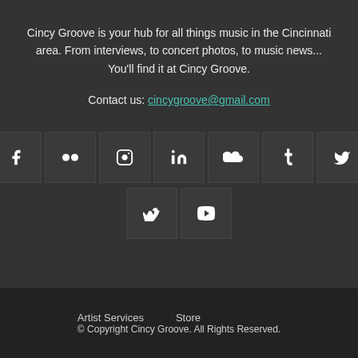Cincy Groove is your hub for all things music in the Cincinnati area. From interviews, to concert photos, to music news... You'll find it at Cincy Groove.
Contact us: cincygroove@gmail.com
[Figure (infographic): Row of social media icon buttons: Facebook, Flickr, Instagram, LinkedIn, SoundCloud, Tumblr, Twitter; second row: Vimeo, YouTube]
Artist Services   Store
© Copyright Cincy Groove. All Rights Reserved.